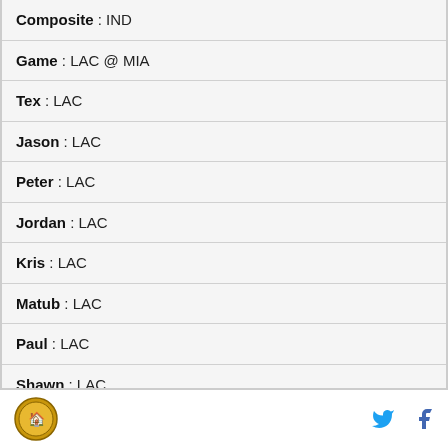Composite : IND
Game : LAC @ MIA
Tex : LAC
Jason : LAC
Peter : LAC
Jordan : LAC
Kris : LAC
Matub : LAC
Paul : LAC
Shawn : LAC
Wendi : LAC
Logo | Twitter | Facebook